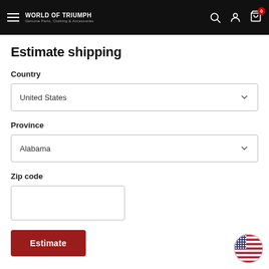WORLD OF TRIUMPH — Genuine Parts, Clothing & Accessories
Estimate shipping
Country
United States
Province
Alabama
Zip code
Estimate